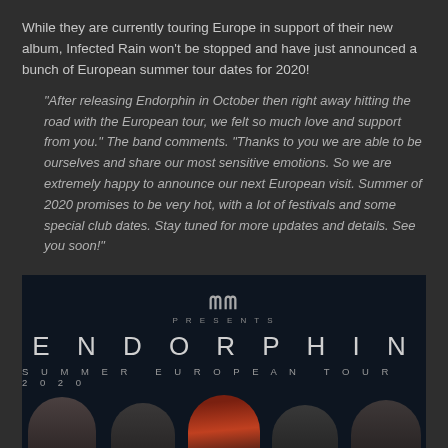While they are currently touring Europe in support of their new album, Infected Rain won't be stopped and have just announced a bunch of European summer tour dates for 2020!
"After releasing Endorphin in October then right away hitting the road with the European tour, we felt so much love and support from you." The band comments. "Thanks to you we are able to be ourselves and share our most sensitive emotions. So we are extremely happy to announce our next European visit. Summer of 2020 promises to be very hot, with a lot of festivals and some special club dates. Stay tuned for more updates and details. See you soon!"
[Figure (photo): Promotional concert poster for Infected Rain's Endorphin Summer European Tour 2020, showing the MM Presents logo, the word ENDORPHIN in large spaced letters, SUMMER EUROPEAN TOUR 2020 subtitle, and five band members visible from shoulders up against a dark blue-black background.]